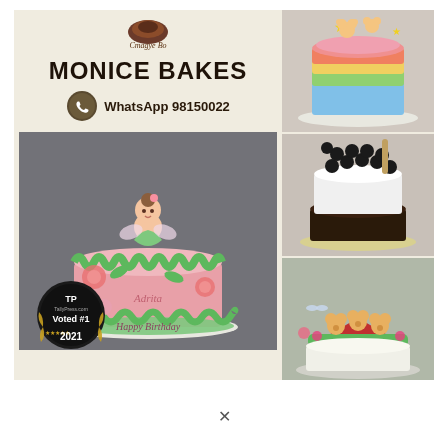[Figure (photo): Monice Bakes promotional collage showing logo, WhatsApp contact number 98150022, and photos of decorated cakes including a fairy girl cake, rainbow bear cake, bubble tea cake, and teddy bear house cake. Features a 'Voted #1 2021' badge.]
MONICE BAKES
WhatsApp 98150022